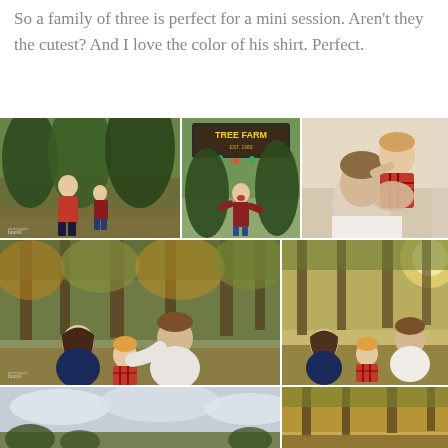So a family of three is perfect for a mini session. Aren't they the cutest? And I love the color of his shirt. Perfect.
[Figure (photo): Collage of family photos at a Christmas tree farm and outdoor forest setting. Top row: mother and young child in red plaid shirt among Christmas trees; child laughing under a Tree Farm sign; father kissing young child. Middle row: family of three (mother with long dark hair, father, young child in plaid) sitting on grass in forest; similar family portrait outdoors. Bottom row: two partial photos of family outdoors.]